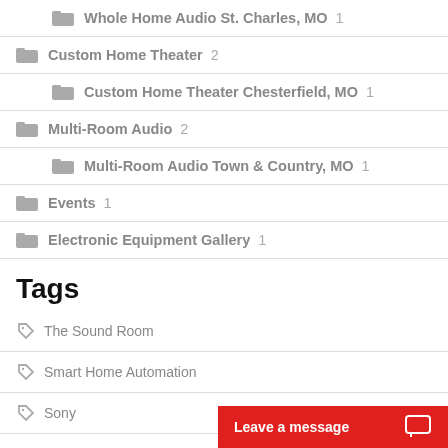Whole Home Audio St. Charles, MO 1
Custom Home Theater 2
Custom Home Theater Chesterfield, MO 1
Multi-Room Audio 2
Multi-Room Audio Town & Country, MO 1
Events 1
Electronic Equipment Gallery 1
Tags
The Sound Room
Smart Home Automation
Sony